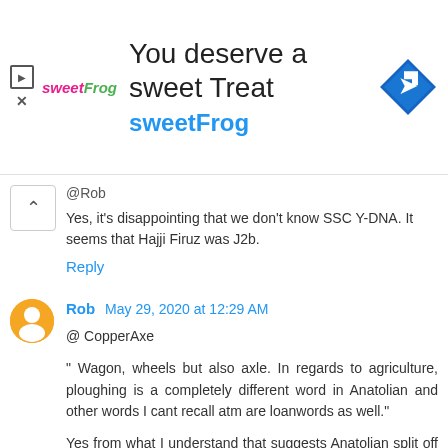[Figure (other): SweetFrog frozen yogurt advertisement banner with logo, text 'You deserve a sweet Treat', 'sweetFrog' subtitle, and a blue diamond navigation icon.]
@Rob
Yes, it's disappointing that we don't know SSC Y-DNA. It seems that Hajji Firuz was J2b.
Reply
Rob May 29, 2020 at 12:29 AM
@ CopperAxe

" Wagon, wheels but also axle. In regards to agriculture, ploughing is a completely different word in Anatolian and other words I cant recall atm are loanwords as well."

Yes from what I understand that suggests Anatolian split off first ; or is 'more divergent' for some reason
Let's see if more data from west-central shows anything new